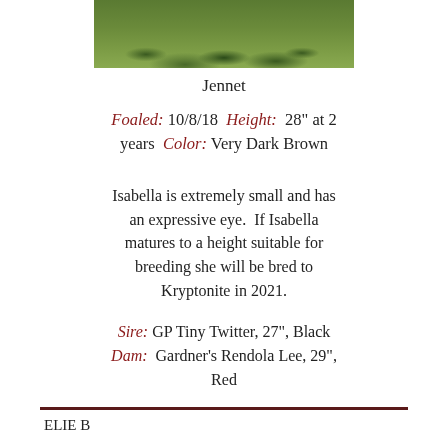[Figure (photo): Partial photo of a miniature donkey standing on grass, showing the lower body and surrounding green grass area.]
Jennet
Foaled: 10/8/18  Height: 28" at 2 years  Color: Very Dark Brown
Isabella is extremely small and has an expressive eye.  If Isabella matures to a height suitable for breeding she will be bred to Kryptonite in 2021.
Sire: GP Tiny Twitter, 27", Black
Dam: Gardner's Rendola Lee, 29", Red
ELIE B